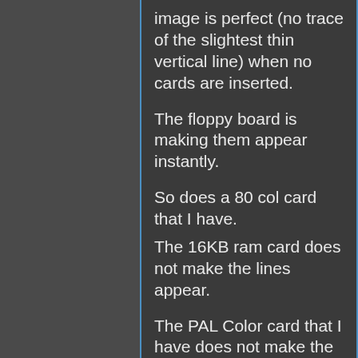image is perfect (no trace of the slightest thin vertical line) when no cards are inserted.
The floppy board is making them appear instantly.
So does a 80 col card that I have.
The 16KB ram card does not make the lines appear.
The PAL Color card that I have does not make the lines appear
It's voodoo ! :) I'm really out of ideas...
I know by discussing with him in private that the OP has not found the solution either. I've seen people